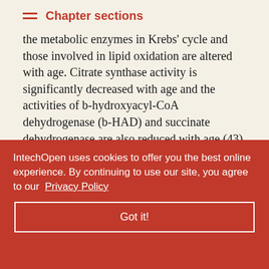Chapter sections
the metabolic enzymes in Krebs' cycle and those involved in lipid oxidation are altered with age. Citrate synthase activity is significantly decreased with age and the activities of b-hydroxyacyl-CoA dehydrogenase (b-HAD) and succinate dehydrogenase are also reduced with age (43). Oxidation of lipids is also impaired within skeletal muscle of aged individuals. Aged muscle also exhibits characteristics of decreased mitochondrial respiratory capacity and ETC enzyme activities.
ctivities of rations, the ease with age and IV e capacity of ted per
IntechOpen uses cookies to offer you the best online experience. By continuing to use our site, you agree to our Privacy Policy
Got it!